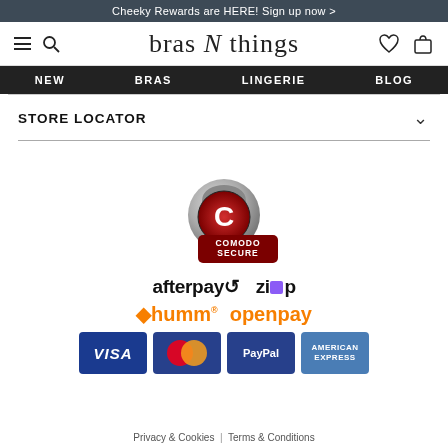Cheeky Rewards are HERE! Sign up now >
[Figure (logo): Bras N Things site header with hamburger menu, search icon, logo, heart icon, and bag icon]
NEW  BRAS  LINGERIE  BLOG
STORE LOCATOR
[Figure (logo): Comodo Secure padlock badge]
[Figure (logo): Payment method logos: afterpay, zip, humm, openpay, VISA, Mastercard, PayPal, American Express]
Privacy & Cookies  |  Terms & Conditions